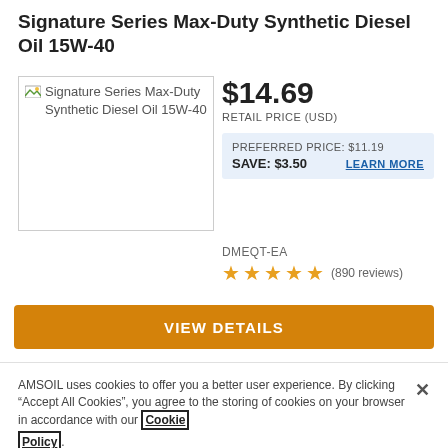Signature Series Max-Duty Synthetic Diesel Oil 15W-40
[Figure (photo): Product image placeholder for Signature Series Max-Duty Synthetic Diesel Oil 15W-40]
$14.69
RETAIL PRICE (USD)
PREFERRED PRICE: $11.19
SAVE: $3.50
LEARN MORE
DMEQT-EA
★★★★★ (890 reviews)
VIEW DETAILS
AMSOIL uses cookies to offer you a better user experience. By clicking “Accept All Cookies”, you agree to the storing of cookies on your browser in accordance with our Cookie Policy.
Manage Preferences
Accept All Cookies